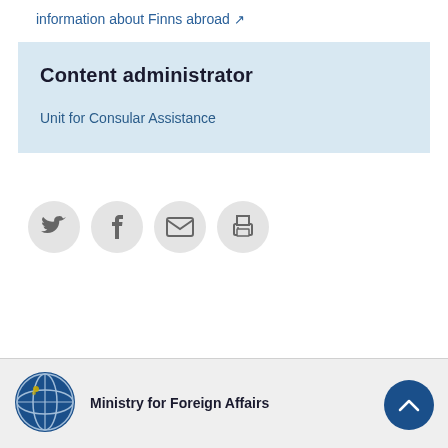information about Finns abroad ↗
Content administrator
Unit for Consular Assistance
[Figure (infographic): Social sharing buttons: Twitter, Facebook, Email, Print]
[Figure (logo): Ministry for Foreign Affairs globe logo]
Ministry for Foreign Affairs